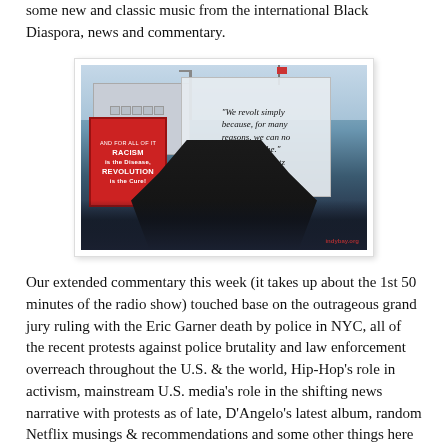some new and classic music from the international Black Diaspora, news and commentary.
[Figure (photo): Protest photo showing demonstrators holding signs. A large white sign reads: "We revolt simply because, for many reasons, we can no longer breathe." – Fanon Frantz. A red sign on the left reads: RACISM is the Disease, REVOLUTION is the Cure! People are gathered outdoors in winter clothing, with a building visible in the background.]
Our extended commentary this week (it takes up about the 1st 50 minutes of the radio show) touched base on the outrageous grand jury ruling with the Eric Garner death by police in NYC, all of the recent protests against police brutality and law enforcement overreach throughout the U.S. & the world, Hip-Hop's role in activism, mainstream U.S. media's role in the shifting news narrative with protests as of late, D'Angelo's latest album, random Netflix musings & recommendations and some other things here